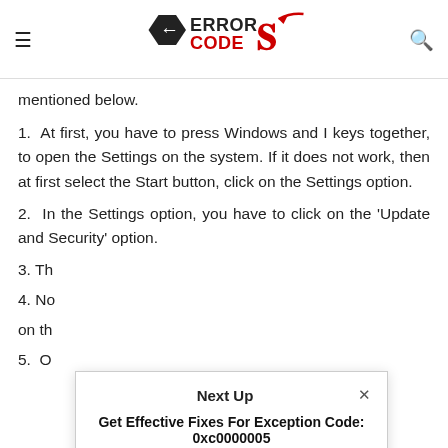≡  ERROR CODE OX  🔍
mentioned below.
1.  At first, you have to press Windows and I keys together, to open the Settings on the system. If it does not work, then at first select the Start button, click on the Settings option.
2.  In the Settings option, you have to click on the 'Update and Security' option.
3. Th
4. No
on th
5.  O
[Figure (screenshot): Next Up popup overlay with title 'Get Effective Fixes For Exception Code: 0xc0000005' by Steven E. Devane, January 12, 2022]